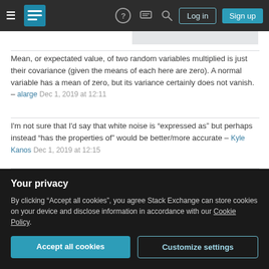Stack Exchange navigation bar with hamburger menu, logo, help, chat, search, Log in and Sign up buttons
Mean, or expectated value, of two random variables multiplied is just their covariance (given the means of each here are zero). A normal variable has a mean of zero, but its variance certainly does not vanish. – alarge Dec 1, 2019 at 12:11
I'm not sure that I'd say that white noise is "expressed as" but perhaps instead "has the properties of" would be better/more accurate – Kyle Kanos Dec 1, 2019 at 12:15
But the latter relationship is really saying that the process is uncorrelated with itself, no? That is, its autocorrelation is a
Your privacy
By clicking "Accept all cookies", you agree Stack Exchange can store cookies on your device and disclose information in accordance with our Cookie Policy.
Accept all cookies   Customize settings